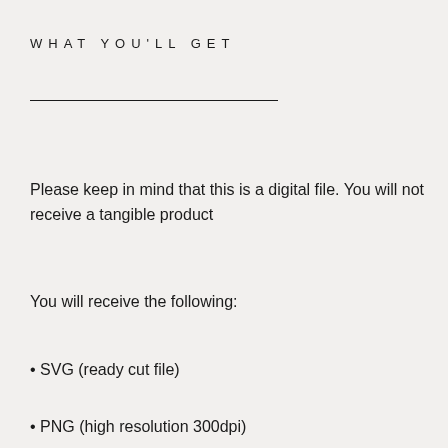WHAT YOU'LL GET
Please keep in mind that this is a digital file. You will not receive a tangible product
You will receive the following:
SVG (ready cut file)
PNG (high resolution 300dpi)